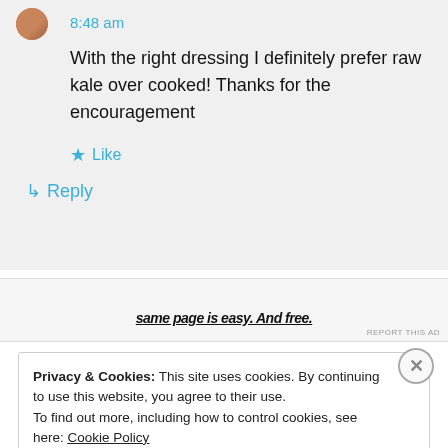8:48 am
With the right dressing I definitely prefer raw kale over cooked! Thanks for the encouragement
★ Like
↳ Reply
[Figure (screenshot): Advertisement banner showing partial text 'same page is easy. And free.']
REPORT THIS AD
Privacy & Cookies: This site uses cookies. By continuing to use this website, you agree to their use.
To find out more, including how to control cookies, see here: Cookie Policy
Close and accept